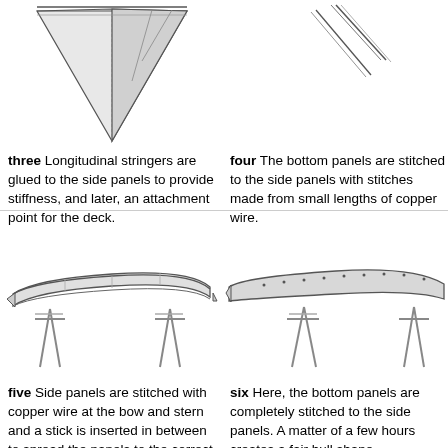[Figure (illustration): Technical illustration of a boat hull from below, showing triangular cross-section shape pointing downward]
[Figure (illustration): Technical illustration of boat panels partially visible at top right, showing diagonal lines/edges]
three Longitudinal stringers are glued to the side panels to provide stiffness, and later, an attachment point for the deck.
four The bottom panels are stitched to the side panels with stitches made from small lengths of copper wire.
[Figure (illustration): Technical illustration of a kayak hull on sawhorses, viewed from above at an angle, showing the complete assembled side panels]
[Figure (illustration): Technical illustration of a kayak hull on sawhorses viewed from the side, showing stitched panels]
five Side panels are stitched with copper wire at the bow and stern and a stick is inserted in between to spread the panels to the correct beam.
six Here, the bottom panels are completely stitched to the side panels. A matter of a few hours creates a fair hull shape.